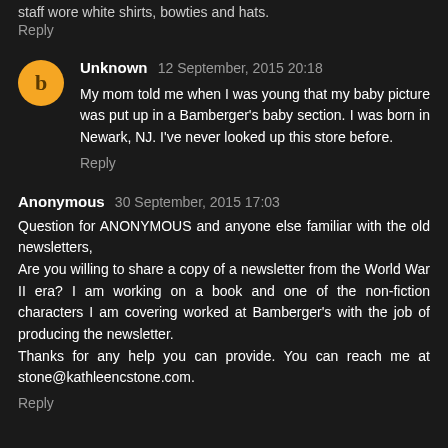staff wore white shirts, bowties and hats.
Reply
Unknown 12 September, 2015 20:18
My mom told me when I was young that my baby picture was put up in a Bamberger's baby section. I was born in Newark, NJ. I've never looked up this store before.
Reply
Anonymous 30 September, 2015 17:03
Question for ANONYMOUS and anyone else familiar with the old newsletters,
Are you willing to share a copy of a newsletter from the World War II era? I am working on a book and one of the non-fiction characters I am covering worked at Bamberger's with the job of producing the newsletter.
Thanks for any help you can provide. You can reach me at stone@kathleencstone.com.
Reply